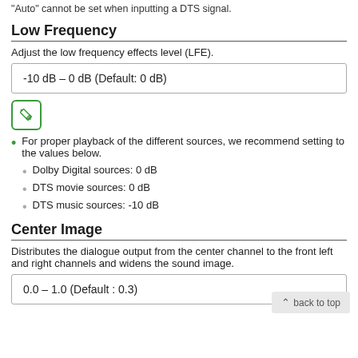"Auto" cannot be set when inputting a DTS signal.
Low Frequency
Adjust the low frequency effects level (LFE).
-10 dB – 0 dB (Default: 0 dB)
[Figure (other): Green pencil/edit icon in a rounded square border]
For proper playback of the different sources, we recommend setting to the values below.
Dolby Digital sources: 0 dB
DTS movie sources: 0 dB
DTS music sources: -10 dB
Center Image
Distributes the dialogue output from the center channel to the front left and right channels and widens the sound image.
0.0 – 1.0 (Default : 0.3)